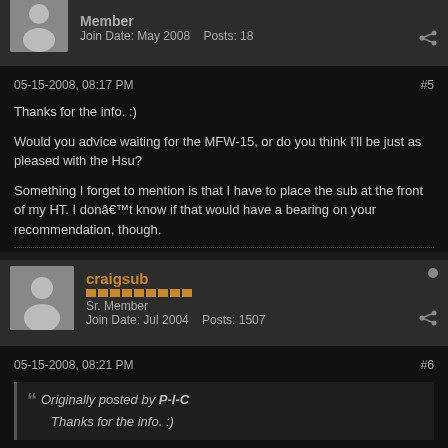Member
Join Date: May 2008   Posts: 18
05-15-2008, 08:17 PM
#5
Thanks for the info. :)
Would you advice waiting for the MFW-15, or do you think I'll be just as pleased with the Hsu?
Something I forget to mention is that I have to place the sub at the front of my HT. I donât know if that would have a bearing on your recommendation, though.
craigsub
Sr. Member
Join Date: Jul 2004   Posts: 1507
05-15-2008, 08:21 PM
#6
Originally posted by P-I-C
Thanks for the info. :)